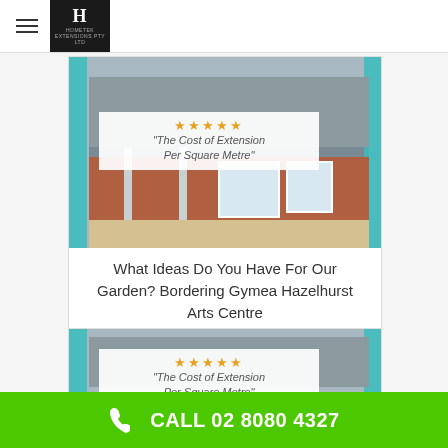Hometek
[Figure (photo): Card showing a home extension with brick walls and covered outdoor area. Overlay badge with stars and text 'The Cost of Extension Per Square Metre'. Extension Builders Sydney Experts logo below image.]
What Ideas Do You Have For Our Garden? Bordering Gymea Hazelhurst Arts Centre
[Figure (photo): Second card showing another home extension with brick walls. Overlay badge with stars and text 'The Cost of Extension Per Square Metre'.]
CALL 02 8080 4327